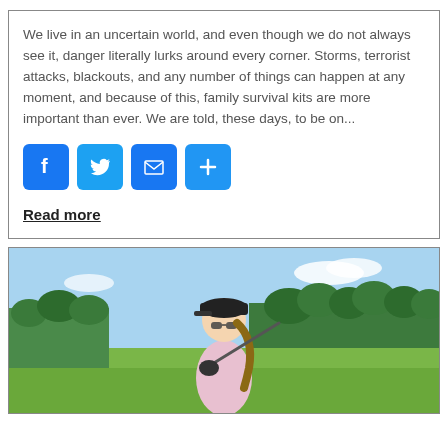We live in an uncertain world, and even though we do not always see it, danger literally lurks around every corner. Storms, terrorist attacks, blackouts, and any number of things can happen at any moment, and because of this, family survival kits are more important than ever. We are told, these days, to be on...
[Figure (infographic): Social sharing icons: Facebook (blue), Twitter (blue), Email (blue envelope), Plus/More (blue)]
Read more
[Figure (photo): A young woman with sunglasses and a black cap holding a golf club over her shoulder on a golf course with trees and blue sky in the background.]